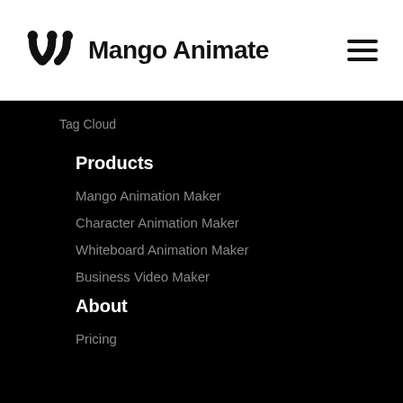Mango Animate
Tag Cloud
Products
Mango Animation Maker
Character Animation Maker
Whiteboard Animation Maker
Business Video Maker
About
Pricing